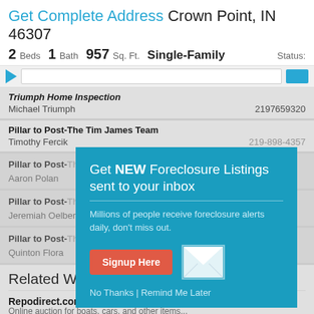Get Complete Address Crown Point, IN 46307
2 Beds  1 Bath  957 Sq. Ft.  Single-Family  Status:
[Figure (screenshot): Navigation bar with blue triangle icon, search bar, and blue button]
| Company | Contact | Phone |
| --- | --- | --- |
| Triumph Home Inspection | Michael Triumph | 2197659320 |
| Pillar to Post-The Tim James Team | Timothy Fercik | 219-898-4357 |
| Pillar to Post-The... | Aaron Polan |  |
| Pillar to Post-The... | Jeremiah Oelberg... |  |
| Pillar to Post-The... | Quinton Flora |  |
[Figure (infographic): Popup overlay: Get NEW Foreclosure Listings sent to your inbox. Signup Here button. No Thanks | Remind Me Later links.]
Related Websites
Repodirect.com
Online auction for boats, cars, and other items...